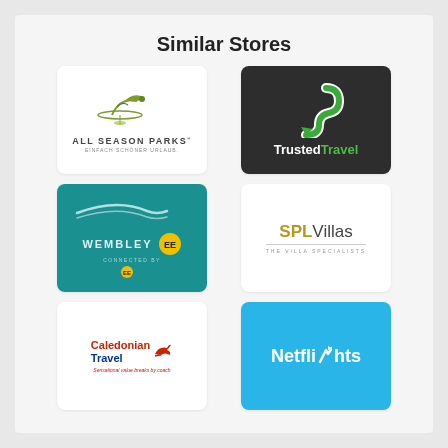Similar Stores
[Figure (logo): All Season Parks logo — stylized bird and plant graphic above text 'ALL SEASON PARKS' with tagline 'EINFACH SCHÖNER URLAUB.' on white background]
[Figure (logo): Trusted Travel logo — stylized green/white S-shape on dark background with text 'TrustedTravel']
[Figure (logo): Wembley Stadium EE logo — teal background with swoosh design, 'WEMBLEY' text and EE yellow circle logo, 'CONNECTED BY' text]
[Figure (logo): SPL Villas logo — 'SPL' in gold, 'Villas' in dark grey, 'THE VILLA SPECIALISTS' subtitle on white background]
[Figure (logo): Caledonian Travel logo — 'Caledonian Travel' in blue/red text with red aeroplane icon, tagline 'Sensational value breaks by coach' on white background]
[Figure (logo): Netflights logo — white bold text 'Netflights' with aeroplane icon on bright blue background]